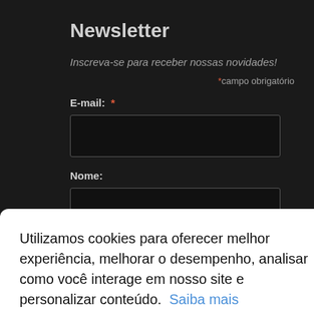Newsletter
Inscreva-se para receber nossas novidades!
*campo obrigatório
E-mail: *
Nome:
Utilizamos cookies para oferecer melhor experiência, melhorar o desempenho, analisar como você interage em nosso site e personalizar conteúdo. Saiba mais
Recusar Cookies
Aceitar Cookies
Subscribe